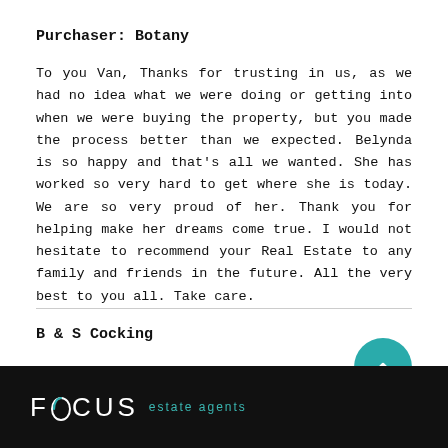Purchaser: Botany
To you Van, Thanks for trusting in us, as we had no idea what we were doing or getting into when we were buying the property, but you made the process better than we expected. Belynda is so happy and that's all we wanted. She has worked so very hard to get where she is today. We are so very proud of her. Thank you for helping make her dreams come true. I would not hesitate to recommend your Real Estate to any family and friends in the future. All the very best to you all. Take care.
B & S Cocking
FOCUS estate agents